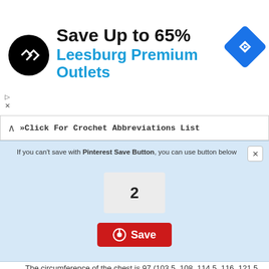[Figure (screenshot): Advertisement banner for Leesburg Premium Outlets showing a logo, 'Save Up to 65%' text, blue subtitle, navigation arrow icon, and ad controls]
» Click For Crochet Abbreviations List
If you can't save with Pinterest Save Button, you can use button below
2
Save
The circumference of the chest is 97 (103.5, 108, 114.5, 116, 121.5, 127.5, 132, 139.5) cm,
The length is 66 (68, 70, 72, 73, 75, 78, 77.5, 84.5) cm.
Necessary materials:
Yarn Rowan, Purelife British Sheep Breeds (100% wool; 120 m / 50 grams in a skein) - 1000 (1080, 1130, 1250, 1300, 1450, 1510, 1570, 1750) m, 8 buttons with a diameter of 19 mm.